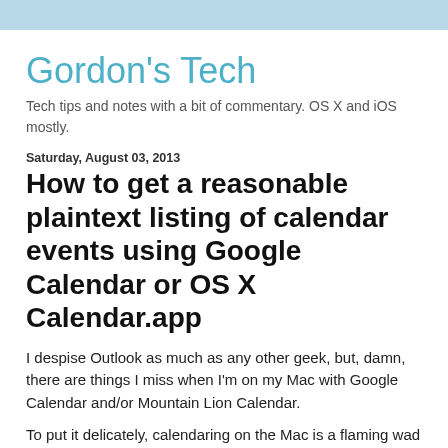Gordon's Tech
Tech tips and notes with a bit of commentary. OS X and iOS mostly.
Saturday, August 03, 2013
How to get a reasonable plaintext listing of calendar events using Google Calendar or OS X Calendar.app
I despise Outlook as much as any other geek, but, damn, there are things I miss when I'm on my Mac with Google Calendar and/or Mountain Lion Calendar.
To put it delicately, calendaring on the Mac is a flaming wad of misery. Google is only a little better. Simple tasks, like a plaintext agenda view one's Calendar, are mysterious or impossible on the modern Mac. (Classic had much better Calendar tools.)